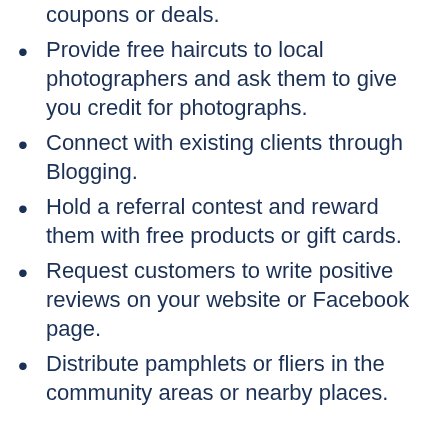coupons or deals.
Provide free haircuts to local photographers and ask them to give you credit for photographs.
Connect with existing clients through Blogging.
Hold a referral contest and reward them with free products or gift cards.
Request customers to write positive reviews on your website or Facebook page.
Distribute pamphlets or fliers in the community areas or nearby places.